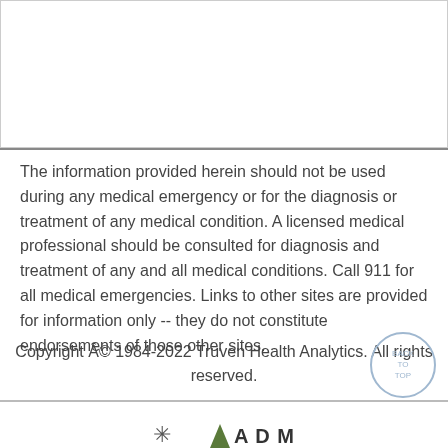The information provided herein should not be used during any medical emergency or for the diagnosis or treatment of any medical condition. A licensed medical professional should be consulted for diagnosis and treatment of any and all medical conditions. Call 911 for all medical emergencies. Links to other sites are provided for information only -- they do not constitute endorsements of those other sites.
Copyright © 1984-2022 Truven Health Analytics. All rights reserved.